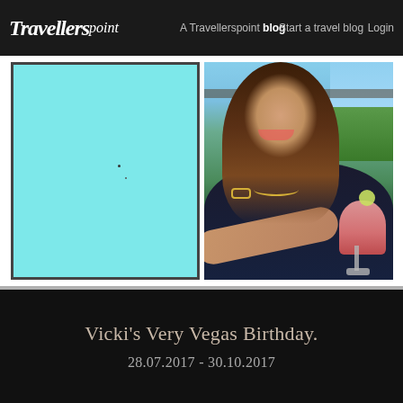Travellerspoint — A Travellerspoint blog — Start a travel blog — Login
[Figure (photo): Left image: cyan/light-blue placeholder image. Right image: photo of a smiling dark-haired woman in a black top holding a pink cocktail in a martini glass, seated outdoors on a terrace with a cityscape in the background.]
Vicki's Very Vegas Birthday.
28.07.2017 - 30.10.2017